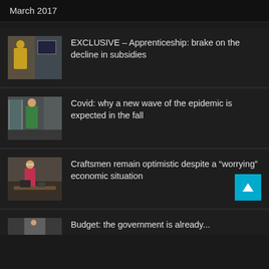March 2017
EXCLUSIVE – Apprenticeship: brake on the decline in subsidies
[Figure (photo): Photo of workers in an industrial or workshop setting]
Covid: why a new wave of the epidemic is expected in the fall
[Figure (photo): Photo of a person in medical/hospital setting]
Craftsmen remain optimistic despite a “worrying” economic situation
[Figure (photo): Photo of a craftswoman working at a workbench]
Budget: the government is already...